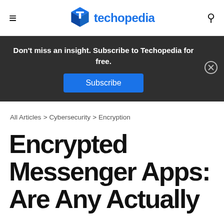techopedia
Don't miss an insight. Subscribe to Techopedia for free. Subscribe
All Articles > Cybersecurity > Encryption
Encrypted Messenger Apps: Are Any Actually